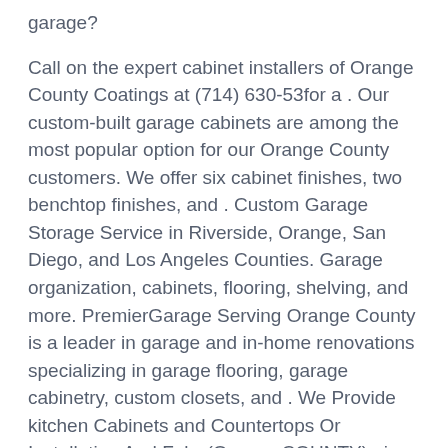garage?
Call on the expert cabinet installers of Orange County Coatings at (714) 630-53for a . Our custom-built garage cabinets are among the most popular option for our Orange County customers. We offer six cabinet finishes, two benchtop finishes, and . Custom Garage Storage Service in Riverside, Orange, San Diego, and Los Angeles Counties. Garage organization, cabinets, flooring, shelving, and more. PremierGarage Serving Orange County is a leader in garage and in-home renovations specializing in garage flooring, garage cabinetry, custom closets, and . We Provide kitchen Cabinets and Countertops Or Installation And Fabr (Orange COUNTY) pic map